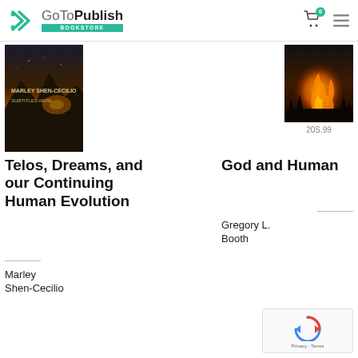GoToPublish BOOKSTORE
[Figure (photo): Book cover of 'Telos, Dreams, and our Continuing Human Evolution' by Marley Shen-Cecilio showing mountain silhouettes against a sunset sky]
Telos, Dreams, and our Continuing Human Evolution
Marley Shen-Cecilio
[Figure (photo): Book cover of 'God and Human' by Gregory L. Booth showing a fire flame against a dark background]
20S.99
God and Human
Gregory L. Booth